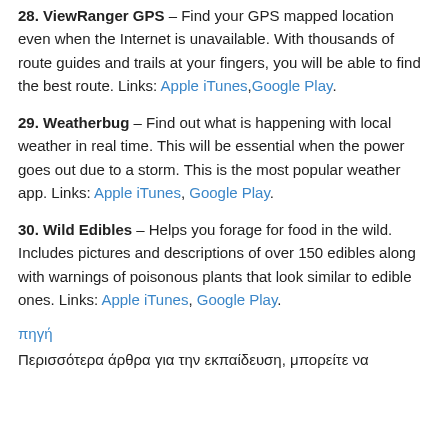28. ViewRanger GPS – Find your GPS mapped location even when the Internet is unavailable. With thousands of route guides and trails at your fingers, you will be able to find the best route. Links: Apple iTunes, Google Play.
29. Weatherbug – Find out what is happening with local weather in real time. This will be essential when the power goes out due to a storm. This is the most popular weather app. Links: Apple iTunes, Google Play.
30. Wild Edibles – Helps you forage for food in the wild. Includes pictures and descriptions of over 150 edibles along with warnings of poisonous plants that look similar to edible ones. Links: Apple iTunes, Google Play.
πηγή
Περισσότερα άρθρα για την εκπαίδευση, μπορείτε να